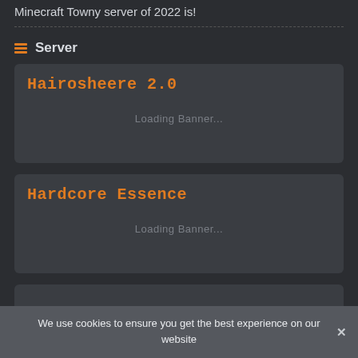Minecraft Towny server of 2022 is!
Server
[Figure (screenshot): Server card for 'Hairosheere 2.0' with Loading Banner... placeholder]
[Figure (screenshot): Server card for 'Hardcore Essence' with Loading Banner... placeholder]
[Figure (screenshot): Partial server card at bottom, partially obscured]
We use cookies to ensure you get the best experience on our website